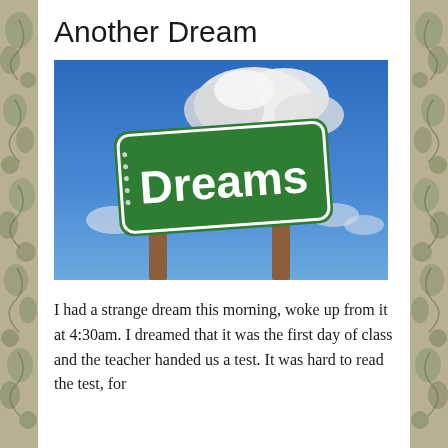Another Dream
[Figure (photo): A green road sign reading 'Dreams' in bold white text, mounted on two wooden posts against a blue sky with white clouds.]
I had a strange dream this morning, woke up from it at 4:30am. I dreamed that it was the first day of class and the teacher handed us a test. It was hard to read the test, for